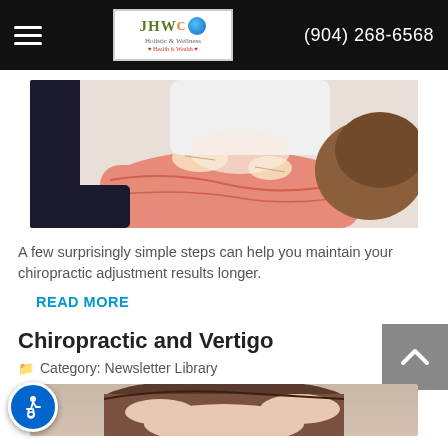JHWC | (904) 268-6568
[Figure (photo): Chiropractor performing spinal adjustment on patient lying on table, patient wearing pink top]
A few surprisingly simple steps can help you maintain your chiropractic adjustment results longer.
READ MORE
Chiropractic and Vertigo
Category: Newsletter Library
[Figure (photo): Person holding head, possibly experiencing vertigo or headache]